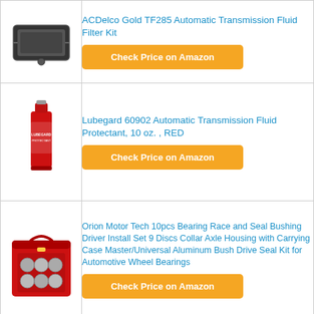| [product image: transmission filter kit] | ACDelco Gold TF285 Automatic Transmission Fluid Filter Kit
Check Price on Amazon |
| [product image: red bottle lubegard] | Lubegard 60902 Automatic Transmission Fluid Protectant, 10 oz. , RED
Check Price on Amazon |
| [product image: red carrying case bearing set] | Orion Motor Tech 10pcs Bearing Race and Seal Bushing Driver Install Set 9 Discs Collar Axle Housing with Carrying Case Master/Universal Aluminum Bush Drive Seal Kit for Automotive Wheel Bearings
Check Price on Amazon |